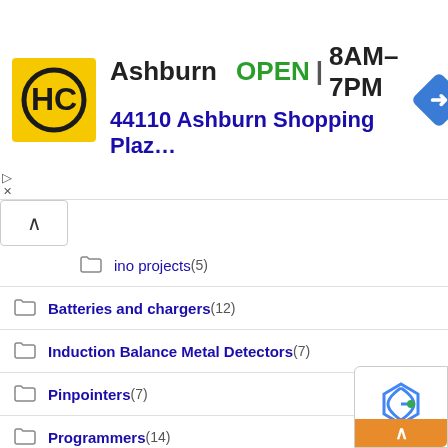[Figure (infographic): Hardware City store ad banner showing HC logo, Ashburn location, OPEN status, hours 8AM-7PM, address 44110 Ashburn Shopping Plaz..., and navigation arrow icon]
...ino projects (5)
Batteries and chargers (12)
Induction Balance Metal Detectors (7)
Pinpointers (7)
Programmers (14)
Pulse Induction Metal Detectors (87)
Chance PI metal detector (7)
Clone PI-AVR metal detector (7)
Clone PI-W metal detector (7)
FelezJoo PI metal detector (11)
IDX PI metal detector (4)
KROT2 metal detector (8)